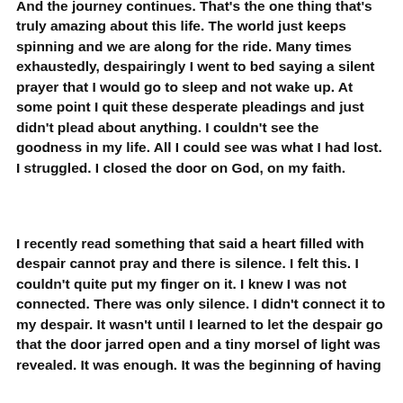And the journey continues. That's the one thing that's truly amazing about this life. The world just keeps spinning and we are along for the ride. Many times exhaustedly, despairingly I went to bed saying a silent prayer that I would go to sleep and not wake up. At some point I quit these desperate pleadings and just didn't plead about anything. I couldn't see the goodness in my life. All I could see was what I had lost. I struggled. I closed the door on God, on my faith.
I recently read something that said a heart filled with despair cannot pray and there is silence. I felt this. I couldn't quite put my finger on it. I knew I was not connected. There was only silence. I didn't connect it to my despair. It wasn't until I learned to let the despair go that the door jarred open and a tiny morsel of light was revealed. It was enough. It was the beginning of having